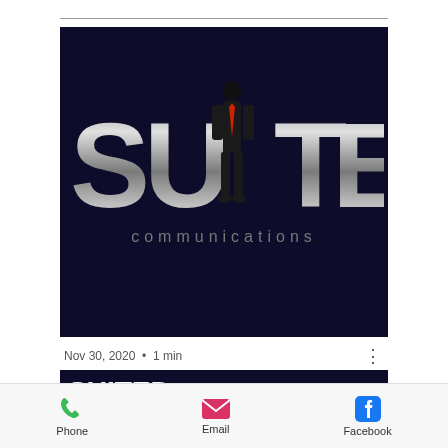[Figure (logo): Suited Communications logo: large metallic silver letters spelling SUITED with a silhouette of a suited man standing in place of the letter I, wearing a red tie. Below in grey text: 'communications'. Dark navy blue background.]
Nov 30, 2020 · 1 min
SUITED COMMUNICATIONS
Get ready because talking with the t...
Phone
Email
Facebook